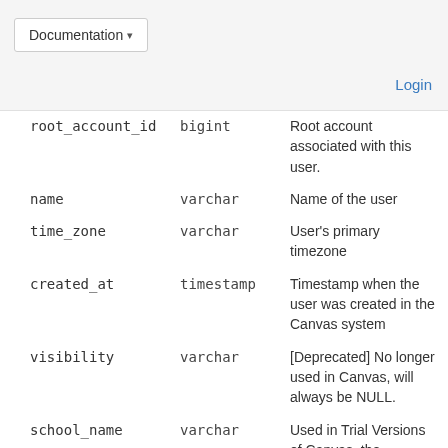Documentation  Login
| column | type | description |
| --- | --- | --- |
| root_account_id | bigint | Root account associated with this user. |
| name | varchar | Name of the user |
| time_zone | varchar | User's primary timezone |
| created_at | timestamp | Timestamp when the user was created in the Canvas system |
| visibility | varchar | [Deprecated] No longer used in Canvas, will always be NULL. |
| school_name | varchar | Used in Trial Versions of Canvas, the school_name is... |